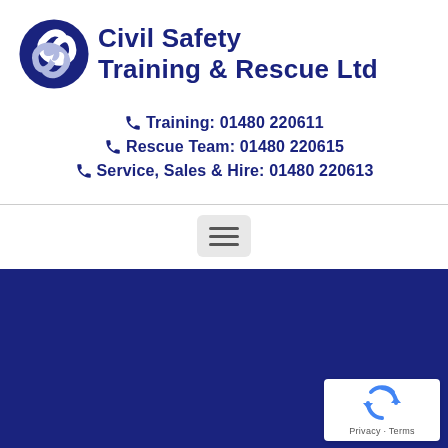[Figure (logo): Civil Safety Training & Rescue Ltd logo with circular swirl icon in dark navy blue and bold text]
Training: 01480 220611
Rescue Team: 01480 220615
Service, Sales & Hire: 01480 220613
[Figure (other): Hamburger menu button (three horizontal lines) on light grey rounded rectangle background]
[Figure (other): Dark navy blue background section filling bottom portion of page]
[Figure (other): reCAPTCHA badge in bottom right corner with blue recycling-style arrows icon and Privacy - Terms text]